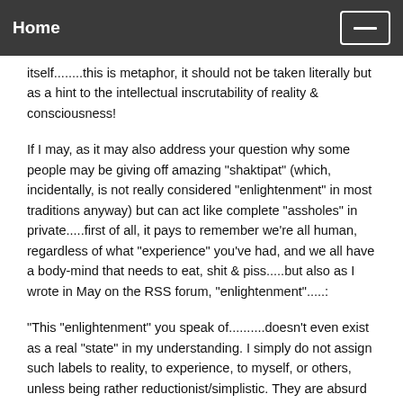Home
itself........this is metaphor, it should not be taken literally but as a hint to the intellectual inscrutability of reality & consciousness!
If I may, as it may also address your question why some people may be giving off amazing "shaktipat" (which, incidentally, is not really considered "enlightenment" in most traditions anyway) but can act like complete "assholes" in private.....first of all, it pays to remember we're all human, regardless of what "experience" you've had, and we all have a body-mind that needs to eat, shit & piss.....but also as I wrote in May on the RSS forum, "enlightenment".....:
"This "enlightenment" you speak of..........doesn't even exist as a real "state" in my understanding. I simply do not assign such labels to reality, to experience, to myself, or others, unless being rather reductionist/simplistic. They are absurd conceptualities in my opinion. Basically, I really couldn't give a flying monkey about "enlightenment", myself............